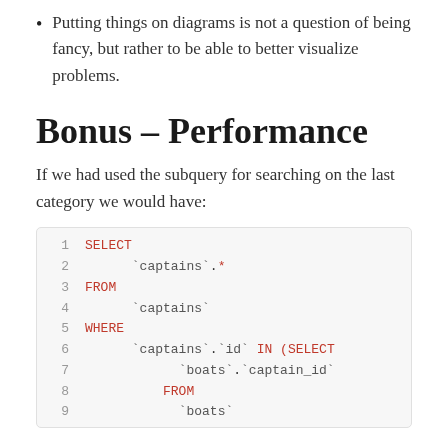Putting things on diagrams is not a question of being fancy, but rather to be able to better visualize problems.
Bonus – Performance
If we had used the subquery for searching on the last category we would have:
[Figure (screenshot): SQL code block showing a SELECT query with subquery: SELECT `captains`.* FROM `captains` WHERE `captains`.`id` IN (SELECT `boats`.`captain_id` FROM `boats`]